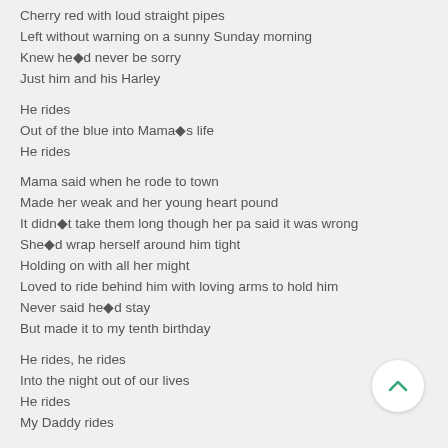Cherry red with loud straight pipes
Left without warning on a sunny Sunday morning
Knew he◘d never be sorry
Just him and his Harley
He rides
Out of the blue into Mama◘s life
He rides
Mama said when he rode to town
Made her weak and her young heart pound
It didn◘t take them long though her pa said it was wrong
She◘d wrap herself around him tight
Holding on with all her might
Loved to ride behind him with loving arms to hold him
Never said he◘d stay
But made it to my tenth birthday
He rides, he rides
Into the night out of our lives
He rides
My Daddy rides
I think about him more and more
We driving on that left of our...